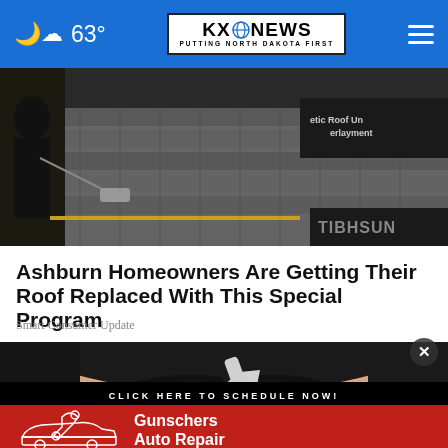KXO NEWS — PUTTING NORTH DAKOTA FIRST | 63°
[Figure (photo): Workers installing shingles on a roof, with synthetic roof underlayment visible]
Ashburn Homeowners Are Getting Their Roof Replaced With This Special Program
Smart Consumer Update
[Figure (photo): Close-up of a woman's face with a gloved hand applying something near her nose/eye area]
[Figure (infographic): Advertisement banner: CLICK HERE TO SCHEDULE NOW! — Gunschers Auto Repair, with car and wrench illustration on red background]